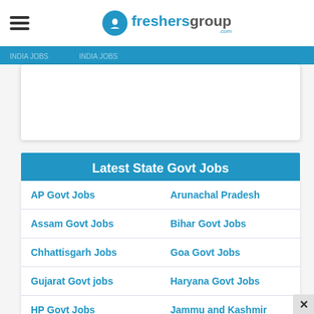freshersgroup.com
Latest State Govt Jobs
| Column 1 | Column 2 |
| --- | --- |
| AP Govt Jobs | Arunachal Pradesh |
| Assam Govt Jobs | Bihar Govt Jobs |
| Chhattisgarh Jobs | Goa Govt Jobs |
| Gujarat Govt jobs | Haryana Govt Jobs |
| HP Govt Jobs | Jammu and Kashmir |
| Jharkhand | Karnataka Govt Jobs |